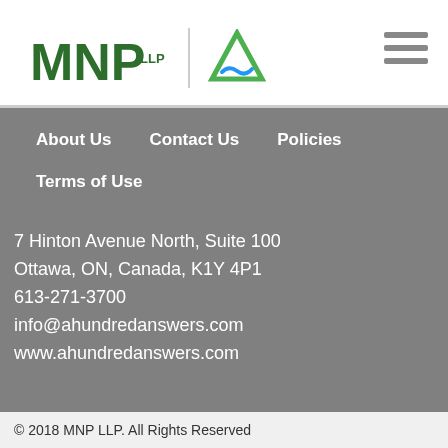[Figure (logo): MNP LLP wordmark logo in dark green, followed by a vertical divider and a triangular A-shaped logo in green and blue (ahundredanswers brand)]
About Us
Contact Us
Policies
Terms of Use
7 Hinton Avenue North, Suite 100
Ottawa, ON, Canada, K1Y 4P1
613-271-3700
info@ahundredanswers.com
www.ahundredanswers.com
© 2018 MNP LLP. All Rights Reserved